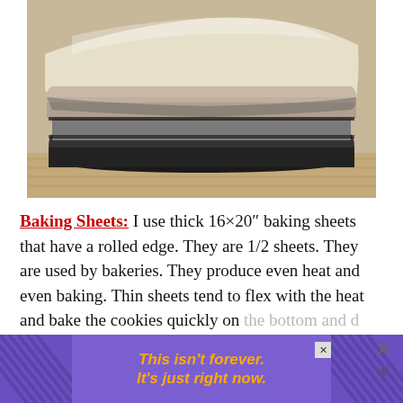[Figure (photo): Close-up photo of stacked commercial baking sheets (half sheets) with parchment paper on a light wooden surface. The sheets are thick metal with dark rims, viewed from the side showing their layered stack.]
Baking Sheets: I use thick 16×20″ baking sheets that have a rolled edge. They are 1/2 sheets. They are used by bakeries. They produce even heat and even baking. Thin sheets tend to flex with the heat and bake the cookies quickly on the bottom and d...
[Figure (other): Advertisement overlay with purple background and diagonal stripe patterns on sides. Yellow/orange italic bold text reads: This isn't forever. It's just right now. Close button in upper right corner.]